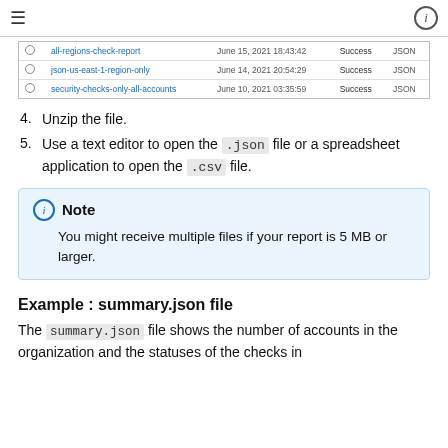≡   (i)
|  | Name | Date | Status | Format |
| --- | --- | --- | --- | --- |
| ○ | all-regions-check-report | June 15, 2021 18:43:42 | Success | JSON |
| ○ | json-us-east-1-region-only | June 14, 2021 20:54:29 | Success | JSON |
| ○ | security-checks-only-all-accounts | June 10, 2021 03:35:59 | Success | JSON |
4.  Unzip the file.
5.  Use a text editor to open the .json file or a spreadsheet application to open the .csv file.
Note
You might receive multiple files if your report is 5 MB or larger.
Example : summary.json file
The summary.json file shows the number of accounts in the organization and the statuses of the checks in